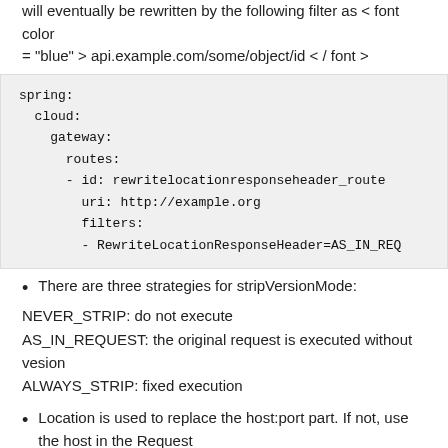will eventually be rewritten by the following filter as < font color = "blue" > api.example.com/some/object/id < / font >
spring:
  cloud:
    gateway:
      routes:
      - id: rewritelocationresponseheader_route
        uri: http://example.org
        filters:
        - RewriteLocationResponseHeader=AS_IN_REQ
There are three strategies for stripVersionMode:
NEVER_STRIP: do not execute
AS_IN_REQUEST: the original request is executed without vesion
ALWAYS_STRIP: fixed execution
Location is used to replace the host:port part. If not, use the host in the Request
protocolsRegex is used to match the protocol. If it does not match, the name filter does nothing